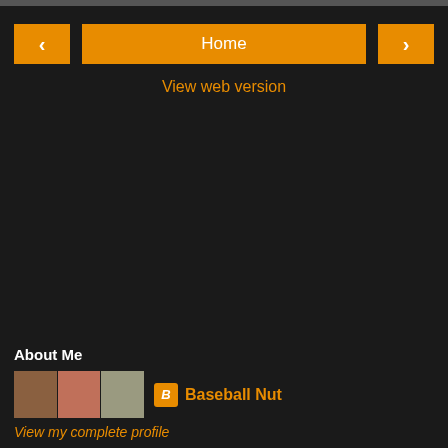Home
View web version
About Me
Baseball Nut
View my complete profile